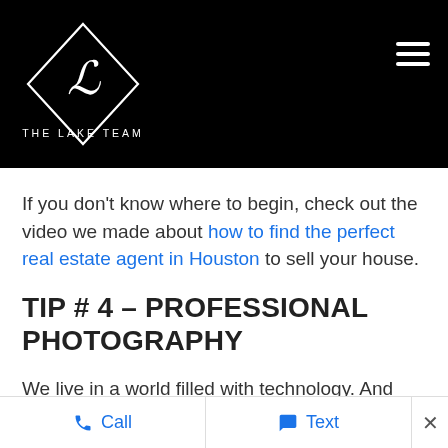[Figure (logo): The Lake Team logo — diamond shape with a cursive 'L' inside, text 'THE LAKE TEAM' below, white on black background. Hamburger menu icon in top right.]
If you don't know where to begin, check out the video we made about how to find the perfect real estate agent in Houston to sell your house.
TIP # 4 – PROFESSIONAL PHOTOGRAPHY
We live in a world filled with technology. And
Call   Text   ×